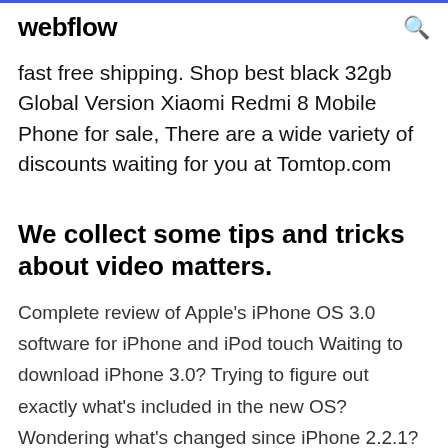webflow
fast free shipping. Shop best black 32gb Global Version Xiaomi Redmi 8 Mobile Phone for sale, There are a wide variety of discounts waiting for you at Tomtop.com
We collect some tips and tricks about video matters.
Complete review of Apple's iPhone OS 3.0 software for iPhone and iPod touch Waiting to download iPhone 3.0? Trying to figure out exactly what's included in the new OS? Wondering what's changed since iPhone 2.2.1?